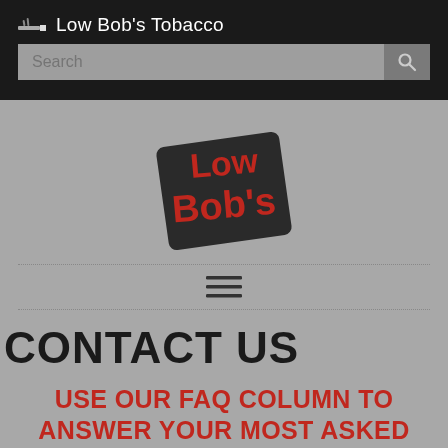Low Bob's Tobacco
[Figure (screenshot): Search bar with gray background and search button icon]
[Figure (logo): Low Bob's logo — stylized red text 'Low Bob's' on a tilted square badge]
[Figure (infographic): Hamburger menu toggle icon (three horizontal lines)]
CONTACT US
USE OUR FAQ COLUMN TO ANSWER YOUR MOST ASKED QUESTIONS